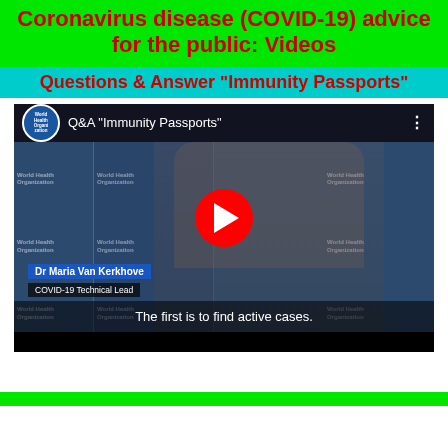Coronavirus disease (COVID-19) advice for the public: Videos
Questions & Answer "Immunity Passports"
[Figure (screenshot): YouTube video thumbnail showing WHO Q&A 'Immunity Passports' video featuring Dr Maria Van Kerkhove, COVID-19 Technical Lead, in front of World Health Organization backdrop. Subtitle reads: 'The first is to find active cases.' A red play button is centered on the video.]